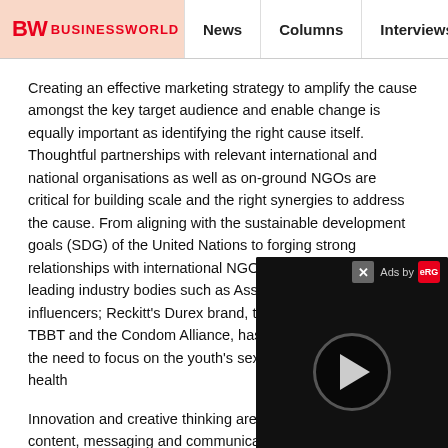BW BUSINESSWORLD | News | Columns | Interviews | BW
Creating an effective marketing strategy to amplify the cause amongst the key target audience and enable change is equally important as identifying the right cause itself. Thoughtful partnerships with relevant international and national organisations as well as on-ground NGOs are critical for building scale and the right synergies to address the cause. From aligning with the sustainable development goals (SDG) of the United Nations to forging strong relationships with international NGOs such as Plan India and leading industry bodies such as Assocham as well as local influencers; Reckitt's Durex brand, through initiatives such as TBBT and the Condom Alliance, has successfully amplified the need to focus on the youth's sexual and reproductive health
Innovation and creative thinking are essential for creating content, messaging and communication that resonates with the larger audience to take notice and eventually join as a partner in this journey of making the world a little better. Working to inform and educate the adolescents and young adults in India about sexual and reproductive health
[Figure (other): Video ad overlay with close button, 'Ads by' label with red logo, and a dark background with play button circle]